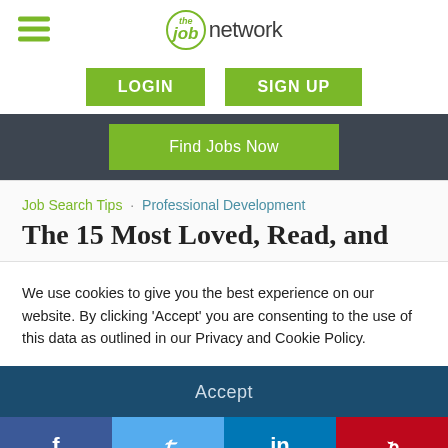[Figure (logo): theJobNetwork logo with hamburger menu icon on the left]
[Figure (screenshot): LOGIN and SIGN UP green buttons]
[Figure (screenshot): Dark navigation bar with 'Find Jobs Now' green button]
Job Search Tips · Professional Development
The 15 Most Loved, Read, and
We use cookies to give you the best experience on our website. By clicking 'Accept' you are consenting to the use of this data as outlined in our Privacy and Cookie Policy.
[Figure (screenshot): Accept button (dark blue bar) and social share bar with Facebook, Twitter, LinkedIn, Pinterest buttons]